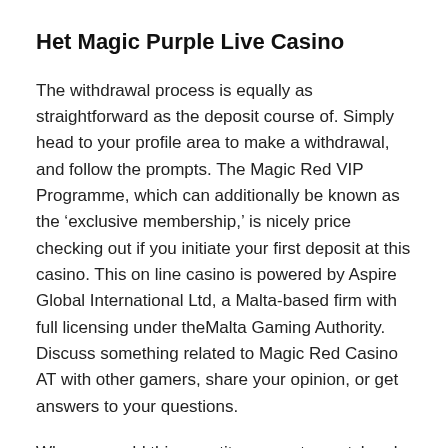Het Magic Purple Live Casino
The withdrawal process is equally as straightforward as the deposit course of. Simply head to your profile area to make a withdrawal, and follow the prompts. The Magic Red VIP Programme, which can additionally be known as the 'exclusive membership,' is nicely price checking out if you initiate your first deposit at this casino. This on line casino is powered by Aspire Global International Ltd, a Malta-based firm with full licensing under theMalta Gaming Authority. Discuss something related to Magic Red Casino AT with other gamers, share your opinion, or get answers to your questions.
When you add this quantity, you get a matchup by the casino as a lot as €200, and also you also get a hundred additional spins. Player's deposit has never been credited to his casino account. The player from Germany has deposited, experienced his account balance as the funds